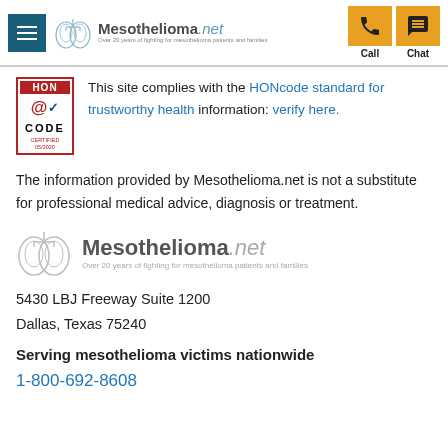Mesothelioma.net — Call | Chat
[Figure (logo): HON certified badge with red border, @ checkmark, CODE text, CERTIFIED 05/2020]
This site complies with the HONcode standard for trustworthy health information: verify here.
The information provided by Mesothelioma.net is not a substitute for professional medical advice, diagnosis or treatment.
[Figure (logo): Mesothelioma.net footer logo with lungs icon. Over 20 years of fighting for mesothelioma patients and families]
5430 LBJ Freeway Suite 1200
Dallas, Texas 75240
Serving mesothelioma victims nationwide
1-800-692-8608